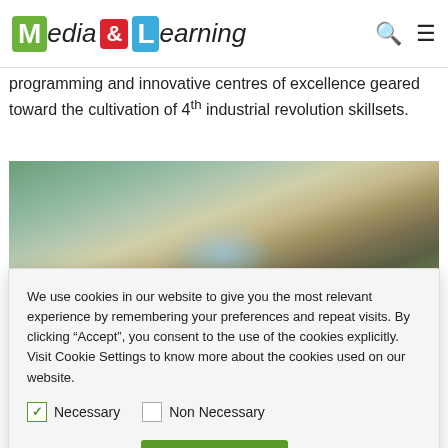Media&Learning
programming and innovative centres of excellence geared toward the cultivation of 4th industrial revolution skillsets.
[Figure (photo): Aerial view of a modern urban campus or city development with a distinctive circular central building surrounded by greenery and city blocks.]
We use cookies in our website to give you the most relevant experience by remembering your preferences and repeat visits. By clicking “Accept”, you consent to the use of the cookies explicitly. Visit Cookie Settings to know more about the cookies used on our website.
Necessary   Non Necessary
Cookie settings   ACCEPT
XITU already engages an international network of